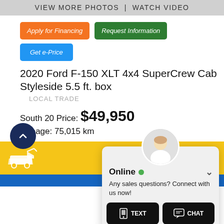VIEW MORE PHOTOS  |  WATCH VIDEO
Apply for Financing
Request Information
Get e-Price
2020 Ford F-150 XLT 4x4 SuperCrew Cab Styleside 5.5 ft. box
LOCAL TRADE
South 20 Price: $49,950
Mileage: 75,015 km
[Figure (screenshot): Online chat widget with avatar, Online status, TEXT and CHAT buttons]
Online
Any sales questions? Connect with us now!
TEXT  CHAT